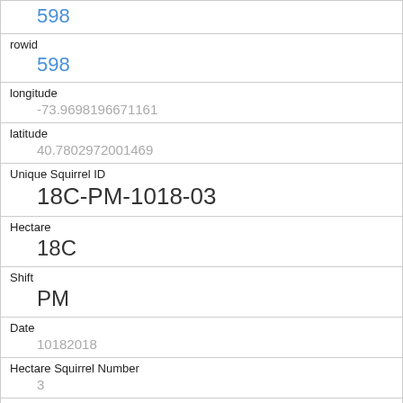| Field | Value |
| --- | --- |
|  | 598 |
| rowid | 598 |
| longitude | -73.9698196671161 |
| latitude | 40.7802972001469 |
| Unique Squirrel ID | 18C-PM-1018-03 |
| Hectare | 18C |
| Shift | PM |
| Date | 10182018 |
| Hectare Squirrel Number | 3 |
| Age | Juvenile |
| Primary Fur Color | Gray |